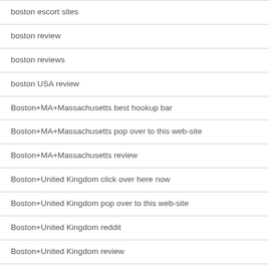boston escort sites
boston review
boston reviews
boston USA review
Boston+MA+Massachusetts best hookup bar
Boston+MA+Massachusetts pop over to this web-site
Boston+MA+Massachusetts review
Boston+United Kingdom click over here now
Boston+United Kingdom pop over to this web-site
Boston+United Kingdom reddit
Boston+United Kingdom review
boston-dating review